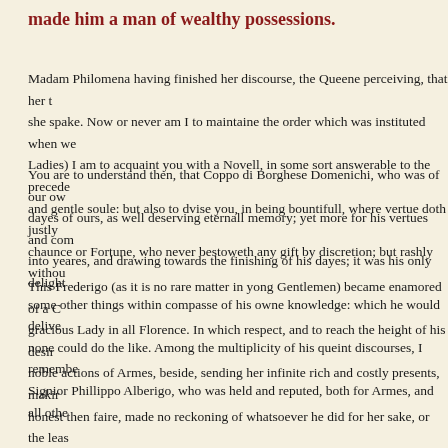made him a man of wealthy possessions.
Madam Philomena having finished her discourse, the Queene perceiving, that her t she spake. Now or never am I to maintaine the order which was instituted when we Ladies) I am to acquaint you with a Novell, in some sort answerable to the precede and gentle soule: but also to dvise you, in being bountifull, where vertue doth justly chaunce or Fortune, who never bestoweth any gift by discretion; but rashly withou
You are to understand then, that Coppo di Borghese Domenichi, who was of our o dayes of ours, as well deserving eternall memory; yet more for his vertues and com into yeares, and drawing towards the finishing of his dayes; it was his only delight some other things within compasse of his owne knowledge: which he would delive none could do the like. Among the multiplicity of his queint discourses, I remembe Signior Phillippo Alberigo, who was held and reputed, both for Armes, and all othe
This Frederigo (as it is no rare matter in yong Gentlemen) became enamored of a C gracious Lady in all Florence. In which respect, and to reach the height of his desir noble actions of Armes, beside, sending her infinite rich and costly presents, makir honest then faire, made no reckoning of whatsoever he did for her sake, or the leas ability could maintaine, and no supplies any way redounding to him, or his facultie him, but a small poore Farme to live upon, the silly revenewes whereof were so me where to be fellowed, so expeditious and sure she was of flight. His low ebbe and p City life could no longer containe him, where most he coveted to abide: and therefo supper, patiently supporting his penurious estate, without suite or meanes making t